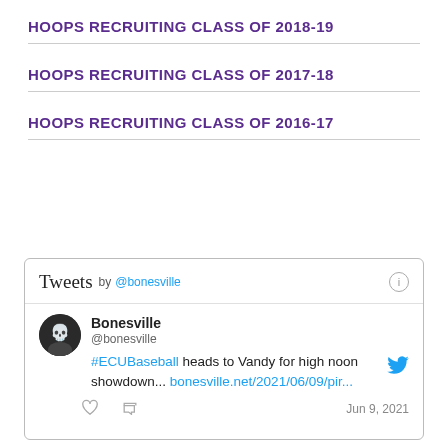HOOPS RECRUITING CLASS OF 2018-19
HOOPS RECRUITING CLASS OF 2017-18
HOOPS RECRUITING CLASS OF 2016-17
[Figure (screenshot): Twitter/X widget showing Tweets by @bonesville. A tweet from Bonesville (@bonesville) reads: '#ECUBaseball heads to Vandy for high noon showdown... bonesville.net/2021/06/09/pir...' dated Jun 9, 2021. Includes avatar, like and retweet icons.]